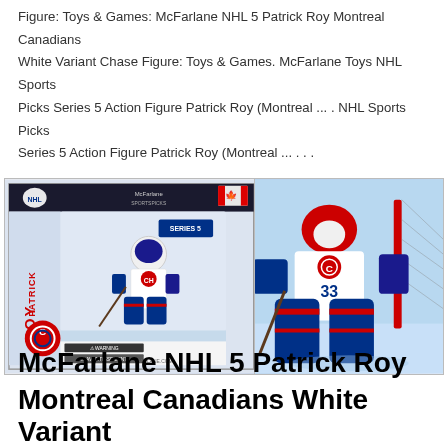Figure: Toys & Games: McFarlane NHL 5 Patrick Roy Montreal Canadians White Variant Chase Figure: Toys & Games. McFarlane Toys NHL Sports Picks Series 5 Action Figure Patrick Roy (Montreal ... . NHL Sports Picks Series 5 Action Figure Patrick Roy (Montreal ... . . .
[Figure (photo): Two images side by side: left shows a McFarlane NHL 5 Patrick Roy Montreal Canadians action figure in its retail packaging box; right shows a close-up of the Patrick Roy action figure in white Canadiens goalie uniform with blue pads, number 33, in a crouching goalie stance.]
McFarlane NHL 5 Patrick Roy Montreal Canadians White Variant